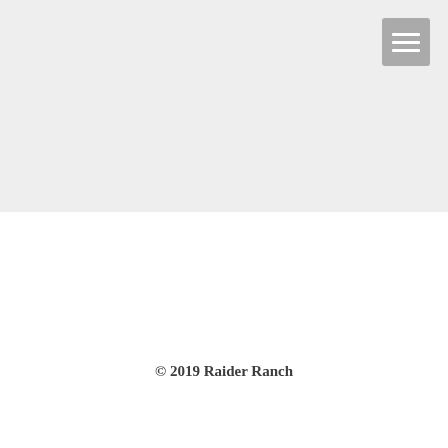[Figure (other): Gray header area with hamburger menu icon in top-right corner]
© 2019 Raider Ranch